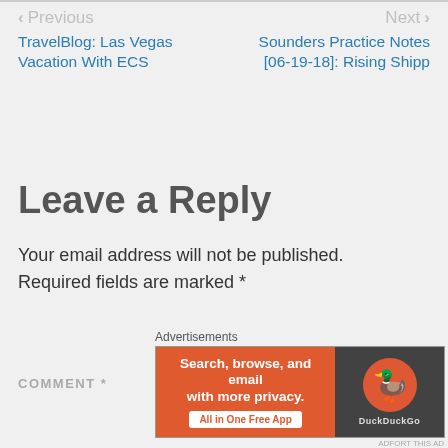< Previous | Next >
TravelBlog: Las Vegas Vacation With ECS
Sounders Practice Notes [06-19-18]: Rising Shipp
Leave a Reply
Your email address will not be published. Required fields are marked *
COMMENT *
[Figure (screenshot): DuckDuckGo advertisement banner: 'Search, browse, and email with more privacy. All in One Free App' with DuckDuckGo logo on dark background]